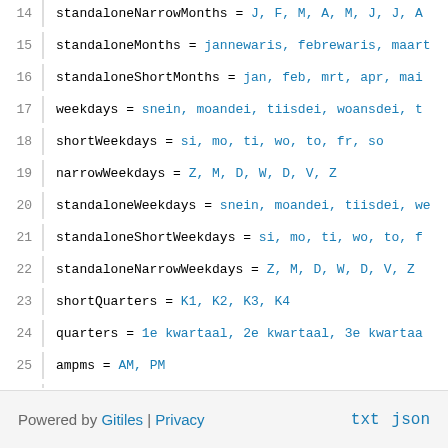14  standaloneNarrowMonths = J, F, M, A, M, J, J, A
15  standaloneMonths = jannewaris, febrewaris, maart
16  standaloneShortMonths = jan, feb, mrt, apr, mai
17  weekdays = snein, moandei, tiisdei, woansdei, t
18  shortWeekdays = si, mo, ti, wo, to, fr, so
19  narrowWeekdays = Z, M, D, W, D, V, Z
20  standaloneWeekdays = snein, moandei, tiisdei, we
21  standaloneShortWeekdays = si, mo, ti, wo, to, f
22  standaloneNarrowWeekdays = Z, M, D, W, D, V, Z
23  shortQuarters = K1, K2, K3, K4
24  quarters = 1e kwartaal, 2e kwartaal, 3e kwartaa
25  ampms = AM, PM
26  dateFormats = EEEE d MMMM y, d MMMM y, d MMM y,
27  timeFormats = HH:mm:ss zzzz, HH:mm:ss z, HH:mm:s
28  dateTimeFormats = {1} {0}, {1} {0}, {1} {0}, {1
29  firstDayOfTheWeek = 2
30  weekendRange = 7, 1
Powered by Gitiles | Privacy    txt  json